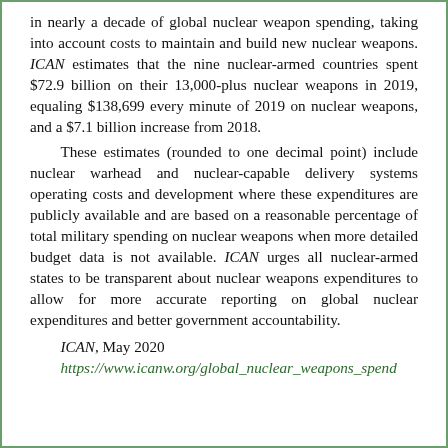in nearly a decade of global nuclear weapon spending, taking into account costs to maintain and build new nuclear weapons. ICAN estimates that the nine nuclear-armed countries spent $72.9 billion on their 13,000-plus nuclear weapons in 2019, equaling $138,699 every minute of 2019 on nuclear weapons, and a $7.1 billion increase from 2018.
    These estimates (rounded to one decimal point) include nuclear warhead and nuclear-capable delivery systems operating costs and development where these expenditures are publicly available and are based on a reasonable percentage of total military spending on nuclear weapons when more detailed budget data is not available. ICAN urges all nuclear-armed states to be transparent about nuclear weapons expenditures to allow for more accurate reporting on global nuclear expenditures and better government accountability.
ICAN, May 2020
https://www.icanw.org/global_nuclear_weapons_spend